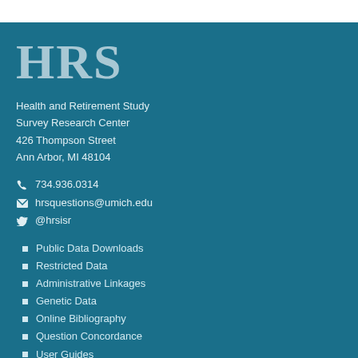HRS
Health and Retirement Study
Survey Research Center
426 Thompson Street
Ann Arbor, MI 48104
📞 734.936.0314
✉ hrsquestions@umich.edu
🐦 @hrsisr
Public Data Downloads
Restricted Data
Administrative Linkages
Genetic Data
Online Bibliography
Question Concordance
User Guides
International Studies